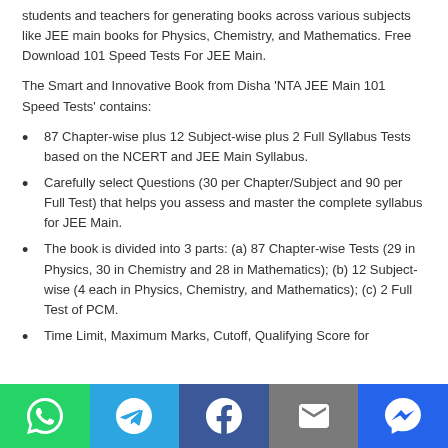students and teachers for generating books across various subjects like JEE main books for Physics, Chemistry, and Mathematics. Free Download 101 Speed Tests For JEE Main.
The Smart and Innovative Book from Disha 'NTA JEE Main 101 Speed Tests' contains:
87 Chapter-wise plus 12 Subject-wise plus 2 Full Syllabus Tests based on the NCERT and JEE Main Syllabus.
Carefully select Questions (30 per Chapter/Subject and 90 per Full Test) that helps you assess and master the complete syllabus for JEE Main.
The book is divided into 3 parts: (a) 87 Chapter-wise Tests (29 in Physics, 30 in Chemistry and 28 in Mathematics); (b) 12 Subject-wise (4 each in Physics, Chemistry, and Mathematics); (c) 2 Full Test of PCM.
Time Limit, Maximum Marks, Cutoff, Qualifying Score for
Social share bar: WhatsApp, Telegram, Facebook, Email, Messenger